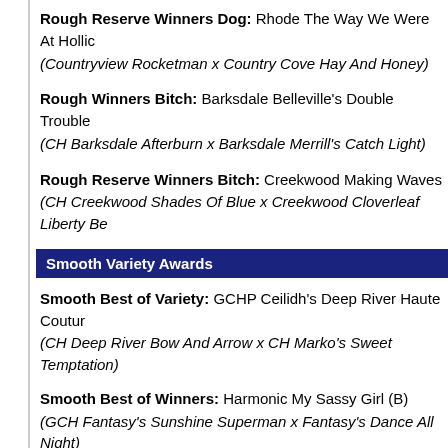Rough Reserve Winners Dog: Rhode The Way We Were At Hollico (Countryview Rocketman x Country Cove Hay And Honey)
Rough Winners Bitch: Barksdale Belleville's Double Trouble (CH Barksdale Afterburn x Barksdale Merrill's Catch Light)
Rough Reserve Winners Bitch: Creekwood Making Waves (CH Creekwood Shades Of Blue x Creekwood Cloverleaf Liberty Be…)
Smooth Variety Awards
Smooth Best of Variety: GCHP Ceilidh's Deep River Haute Couture (CH Deep River Bow And Arrow x CH Marko's Sweet Temptation)
Smooth Best of Winners: Harmonic My Sassy Girl (B) (GCH Fantasy's Sunshine Superman x Fantasy's Dance All Night)
Smooth Best of Opposite Sex to Best of Variety: GCH Afterhours PT (D) (GCH Headlines Soldier of Light x CH Afterhours Sands of T…)
Smooth Select Dog: GCHS Windkist's Ain't No Rest For The Wicke…